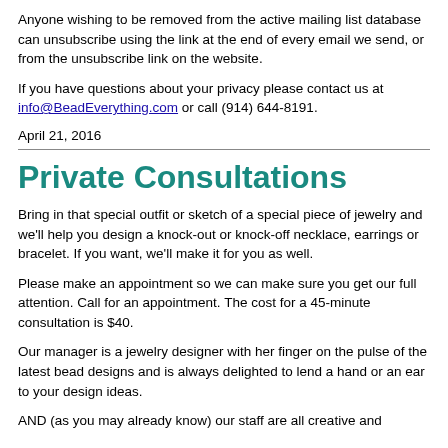Anyone wishing to be removed from the active mailing list database can unsubscribe using the link at the end of every email we send, or from the unsubscribe link on the website.
If you have questions about your privacy please contact us at info@BeadEverything.com or call (914) 644-8191.
April 21, 2016
Private Consultations
Bring in that special outfit or sketch of a special piece of jewelry and we'll help you design a knock-out or knock-off necklace, earrings or bracelet. If you want, we'll make it for you as well.
Please make an appointment so we can make sure you get our full attention. Call for an appointment. The cost for a 45-minute consultation is $40.
Our manager is a jewelry designer with her finger on the pulse of the latest bead designs and is always delighted to lend a hand or an ear to your design ideas.
AND (as you may already know) our staff are all creative and